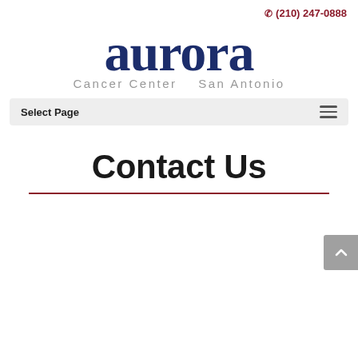(210) 247-0888
[Figure (logo): Aurora Cancer Center San Antonio logo — 'aurora' in large dark navy serif font, 'Cancer Center   San Antonio' in smaller grey sans-serif below]
Select Page
Contact Us